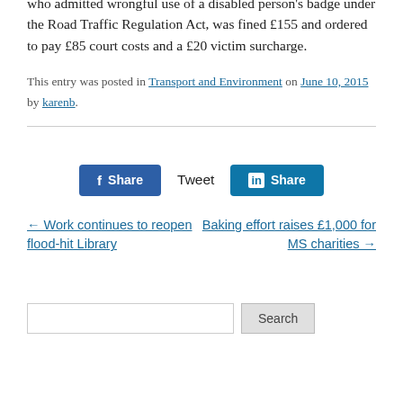who admitted wrongful use of a disabled person's badge under the Road Traffic Regulation Act, was fined £155 and ordered to pay £85 court costs and a £20 victim surcharge.
This entry was posted in Transport and Environment on June 10, 2015 by karenb.
← Work continues to reopen flood-hit Library
Baking effort raises £1,000 for MS charities →